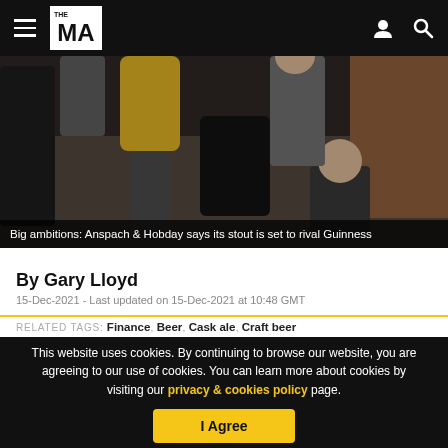THE MA — navigation header with logo, hamburger menu, user icon, search icon
[Figure (photo): Crowd of people at a pub or bar event, with people seated and standing on a wooden floor. The image is partially visible, cropped at the top.]
Big ambitions: Anspach & Hobday says its stout is set to rival Guinness
By Gary Lloyd
15-Dec-2021 - Last updated on 15-Dec-2021 at 10:48 GMT
RELATED TAGS: Finance, Beer, Cask ale, Craft beer
This website uses cookies. By continuing to browse our website, you are agreeing to our use of cookies. You can learn more about cookies by visiting our privacy & cookies policy page.